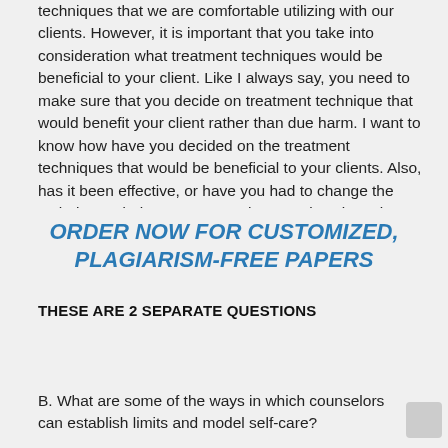techniques that we are comfortable utilizing with our clients. However, it is important that you take into consideration what treatment techniques would be beneficial to your client. Like I always say, you need to make sure that you decide on treatment technique that would benefit your client rather than due harm. I want to know how have you decided on the treatment techniques that would be beneficial to your clients. Also, has it been effective, or have you had to change the techniques during treatment. Therapeutic Orientation
ORDER NOW FOR CUSTOMIZED, PLAGIARISM-FREE PAPERS
THESE ARE 2 SEPARATE QUESTIONS
B. What are some of the ways in which counselors can establish limits and model self-care?